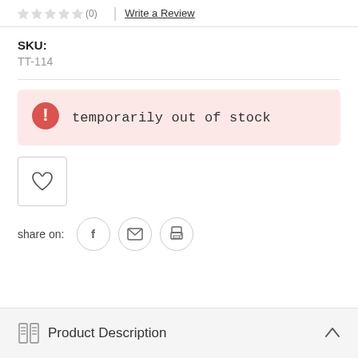(0) | Write a Review
SKU:
TT-114
temporarily out of stock
[Figure (illustration): Wishlist heart icon button]
share on:
[Figure (illustration): Social share buttons: Facebook, Email, Print]
Product Description